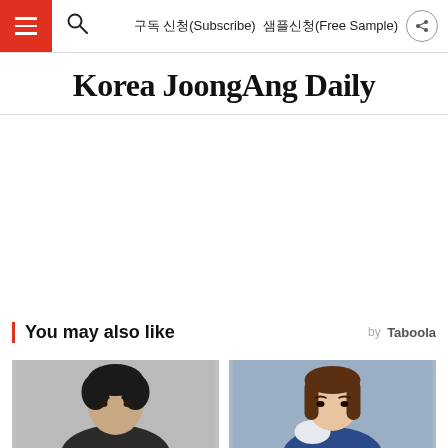구독 신청(Subscribe)   샘플신청(Free Sample)
Korea JoongAng Daily
You may also like
[Figure (photo): Two thumbnail photos side by side below 'You may also like' section. Left: a young male person with dark hair. Right: a young female person in a blue outfit.]